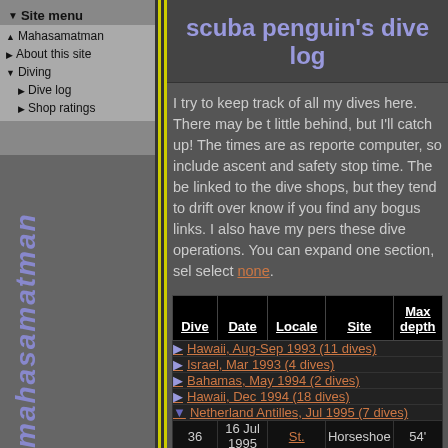Site menu
▲ Mahasamatman
▶ About this site
▼ Diving
▶ Dive log
▶ Shop ratings
scuba penguin's dive log
I try to keep track of all my dives here. There may be little behind, but I'll catch up! The times are as reported computer, so include ascent and safety stop time. The be linked to the dive shops, but they tend to drift over know if you find any bogus links. I also have my pers these dive operations. You can expand one section, sel select none.
| Dive | Date | Locale | Site | Max depth |
| --- | --- | --- | --- | --- |
| ▶ Hawaii, Aug-Sep 1993 (11 dives) |  |  |  |  |
| ▶ Israel, Mar 1993 (4 dives) |  |  |  |  |
| ▶ Bahamas, May 1994 (2 dives) |  |  |  |  |
| ▶ Hawaii, Dec 1994 (18 dives) |  |  |  |  |
| ▼ Netherland Antilles, Jul 1995 (7 dives) |  |  |  |  |
| 36 | 16 Jul 1995 | St. | Horseshoe | 54' |